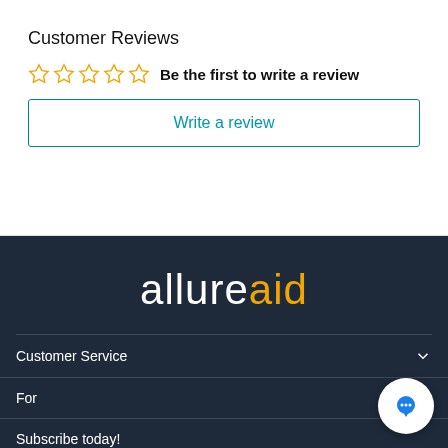Customer Reviews
Be the first to write a review
Write a review
[Figure (logo): allureaid logo with 'allure' in white and 'aid' in gold/orange on dark navy background]
Customer Service
For
Subscribe today!